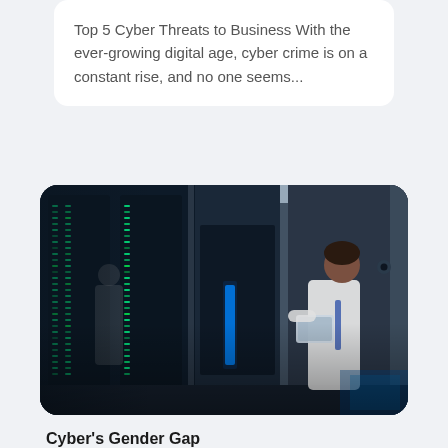Top 5 Cyber Threats to Business With the ever-growing digital age, cyber crime is on a constant rise, and no one seems...
[Figure (photo): A woman in a white shirt holding a tablet standing in a server room with rows of servers with green blinking lights, viewed through glass panels. A reflection of another person is visible on the left.]
Cyber's Gender Gap
Jan 20, 2022